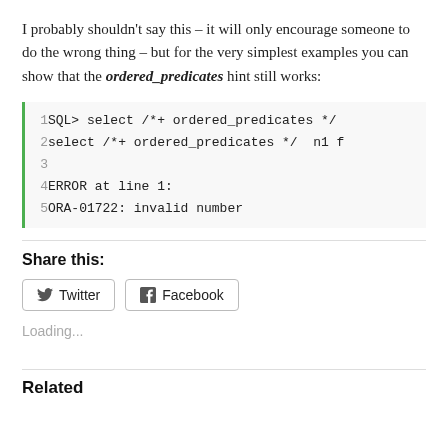I probably shouldn't say this – it will only encourage someone to do the wrong thing – but for the very simplest examples you can show that the ordered_predicates hint still works:
[Figure (screenshot): Code block showing SQL command with ordered_predicates hint and resulting ORA-01722 error, with line numbers 1-5 and green left border]
Share this:
Twitter  Facebook
Loading...
Related